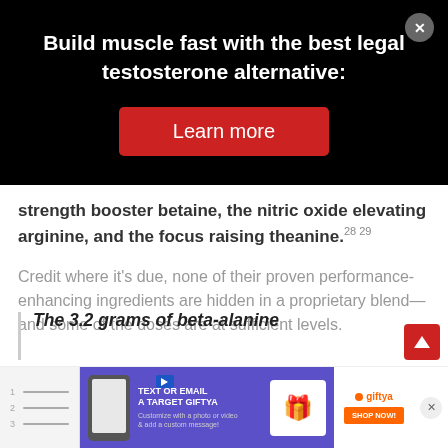[Figure (infographic): Black advertisement banner with text 'Build muscle fast with the best legal testosterone alternative:' and a red 'Learn more' button. A grey close (X) button is in the top right corner.]
strength booster betaine, the nitric oxide elevating arginine, and the focus raising theanine.28 29
Credit where it’s due, none of their proven performance-enhancing ingredients are hidden in a proprietary blend—and some of the doses are at sufficient levels.
The 3.2 grams of beta-alanine
[Figure (infographic): Bottom advertisement banner for GiftYa featuring a phone image, purple background with text 'TEXT OR EMAIL A TARGET GIFTYA', a gift card graphic, the GiftYa logo, and a 'SHOP NOW!' orange button. A close X button is on the right.]